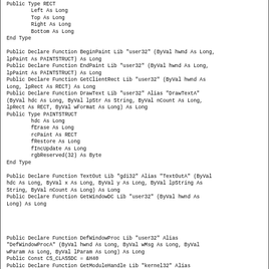Public Type RECT
        Left As Long
        Top As Long
        Right As Long
        Bottom As Long
End Type

Public Declare Function BeginPaint Lib "user32" (ByVal hwnd As Long, lpPaint As PAINTSTRUCT) As Long
Public Declare Function EndPaint Lib "user32" (ByVal hwnd As Long, lpPaint As PAINTSTRUCT) As Long
Public Declare Function GetClientRect Lib "user32" (ByVal hwnd As Long, lpRect As RECT) As Long
Public Declare Function DrawText Lib "user32" Alias "DrawTextA" (ByVal hdc As Long, ByVal lpStr As String, ByVal nCount As Long, lpRect As RECT, ByVal wFormat As Long) As Long
Public Type PAINTSTRUCT
        hdc As Long
        fErase As Long
        rcPaint As RECT
        fRestore As Long
        fIncUpdate As Long
        rgbReserved(32) As Byte
End Type

Public Declare Function TextOut Lib "gdi32" Alias "TextOutA" (ByVal hdc As Long, ByVal x As Long, ByVal y As Long, ByVal lpString As String, ByVal nCount As Long) As Long
Public Declare Function GetWindowDC Lib "user32" (ByVal hwnd As Long) As Long




Public Declare Function DefWindowProc Lib "user32" Alias "DefWindowProcA" (ByVal hwnd As Long, ByVal wMsg As Long, ByVal wParam As Long, ByVal lParam As Long) As Long
Public Const CS_CLASSDC = &H40
Public Declare Function GetModuleHandle Lib "kernel32" Alias "GetModuleHandleA" (ByVal lpModuleName As String) As Long

Public Declare Function UnregisterClass Lib "user32" Alias